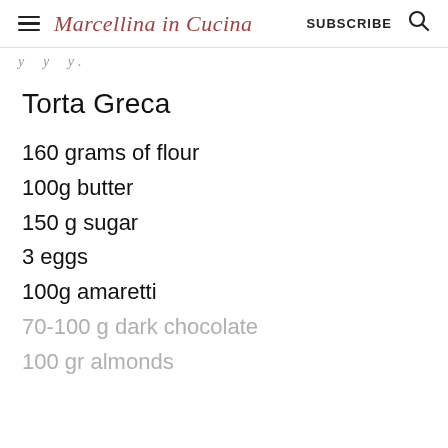Marcellina in Cucina  SUBSCRIBE
y . . . y .
Torta Greca
160 grams of flour
100g butter
150 g sugar
3 eggs
100g amaretti
70-100 g dark chocolate
100 gr almonds